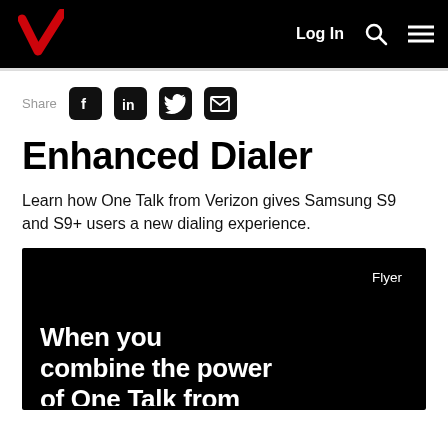Verizon — Log In
Share
Enhanced Dialer
Learn how One Talk from Verizon gives Samsung S9 and S9+ users a new dialing experience.
[Figure (illustration): Black flyer image with white bold text reading 'When you combine the power of One Talk from...' with a 'Flyer' label in the top right corner.]